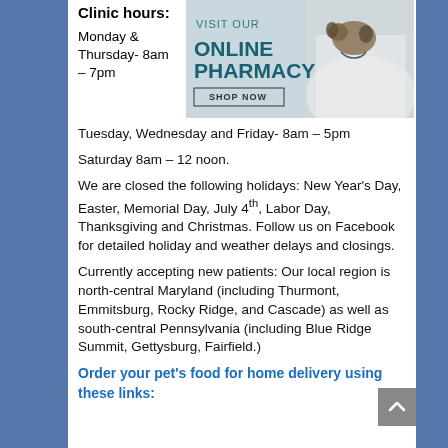Clinic hours:
Monday & Thursday- 8am – 7pm
[Figure (infographic): Advertisement banner for an online pharmacy with text 'VISIT OUR ONLINE PHARMACY SHOP NOW' and image of a veterinarian holding a small dog/puppy.]
Tuesday, Wednesday and Friday- 8am – 5pm
Saturday 8am – 12 noon.
We are closed the following holidays: New Year's Day, Easter, Memorial Day, July 4th, Labor Day, Thanksgiving and Christmas. Follow us on Facebook for detailed holiday and weather delays and closings.
Currently accepting new patients: Our local region is north-central Maryland (including Thurmont, Emmitsburg, Rocky Ridge, and Cascade) as well as south-central Pennsylvania (including Blue Ridge Summit, Gettysburg, Fairfield.)
Order your pet's food for home delivery using these links: